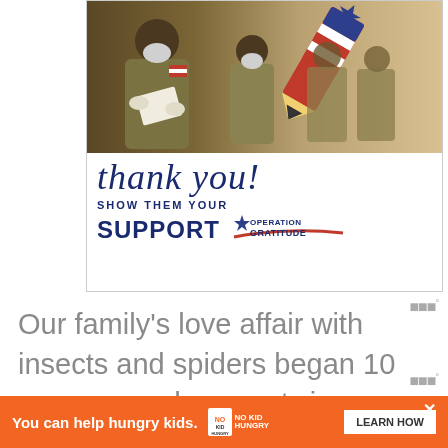[Figure (illustration): Operation Gratitude advertisement banner showing military soldiers in camouflage and masks, with a patriotic pencil graphic, handwritten 'thank you!' text, and 'SHOW THEM YOUR SUPPORT' with Operation Gratitude logo]
Our family’s love affair with insects and spiders began 10 years ago when our twins were only two years old. As an arachnophobe, I was begrudgingly
[Figure (illustration): Bottom advertisement banner in orange: 'You can help hungry kids.' with No Kid Hungry logo and 'LEARN HOW' button, with an X close button]